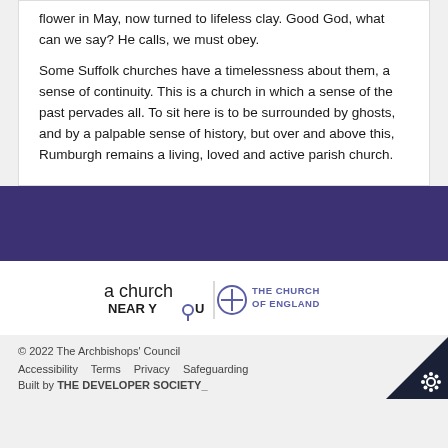flower in May, now turned to lifeless clay. Good God, what can we say? He calls, we must obey.
Some Suffolk churches have a timelessness about them, a sense of continuity. This is a church in which a sense of the past pervades all. To sit here is to be surrounded by ghosts, and by a palpable sense of history, but over and above this, Rumburgh remains a living, loved and active parish church.
[Figure (logo): A Church Near You | The Church of England logo]
© 2022 The Archbishops' Council
Accessibility   Terms   Privacy   Safeguarding
Built by THE DEVELOPER SOCIETY_